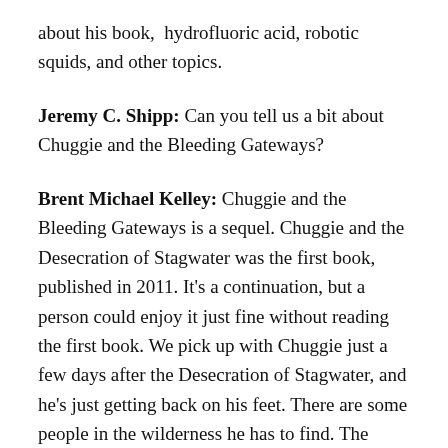about his book, hydrofluoric acid, robotic squids, and other topics.
Jeremy C. Shipp: Can you tell us a bit about Chuggie and the Bleeding Gateways?
Brent Michael Kelley: Chuggie and the Bleeding Gateways is a sequel. Chuggie and the Desecration of Stagwater was the first book, published in 2011. It’s a continuation, but a person could enjoy it just fine without reading the first book. We pick up with Chuggie just a few days after the Desecration of Stagwater, and he’s just getting back on his feet. There are some people in the wilderness he has to find. The bone dagger he stole in the first book seems to have even stranger